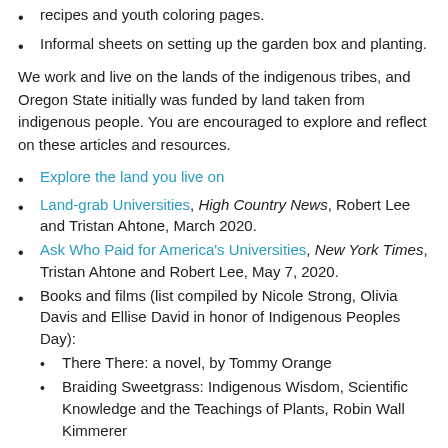recipes and youth coloring pages.
Informal sheets on setting up the garden box and planting.
We work and live on the lands of the indigenous tribes, and Oregon State initially was funded by land taken from indigenous people. You are encouraged to explore and reflect on these articles and resources.
Explore the land you live on
Land-grab Universities, High Country News, Robert Lee and Tristan Ahtone, March 2020.
Ask Who Paid for America's Universities, New York Times, Tristan Ahtone and Robert Lee, May 7, 2020.
Books and films (list compiled by Nicole Strong, Olivia Davis and Ellise David in honor of Indigenous Peoples Day):
There There: a novel, by Tommy Orange
Braiding Sweetgrass: Indigenous Wisdom, Scientific Knowledge and the Teachings of Plants, Robin Wall Kimmerer
An Indigenous People's History of the United